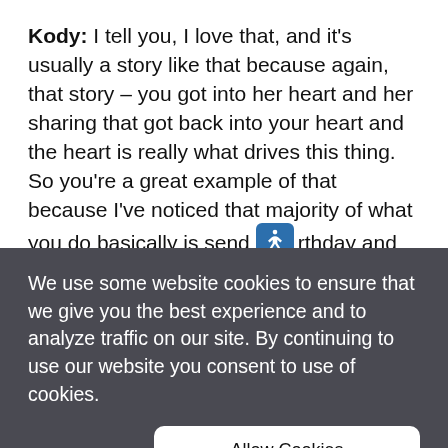Kody: I tell you, I love that, and it's usually a story like that because again, that story – you got into her heart and her sharing that got back into your heart and the heart is really what drives this thing. So you're a great example of that because I've noticed that majority of what you do basically is send [accessibility icon]rthday and anniversary cards. Now when
We use some website cookies to ensure that we give you the best experience and to analyze traffic on our site. By continuing to use our website you consent to use of cookies.
Allow Cookies